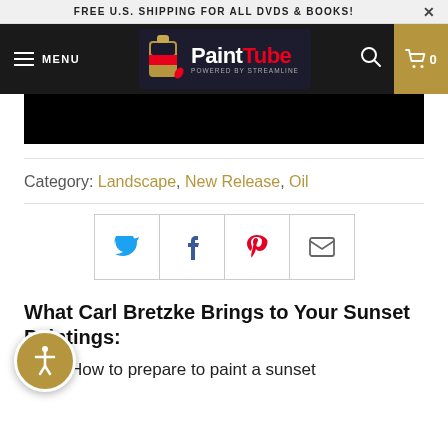FREE U.S. SHIPPING FOR ALL DVDS & BOOKS!
[Figure (logo): PaintTube logo with paint tube graphic and 'PaintTube powered by Streamline' text on dark background navbar with menu, search, and cart icons]
[Figure (photo): Black video player area]
Category: Landscape, New Release, Oil
[Figure (other): Social share buttons: Twitter, Facebook, Pinterest, Email]
What Carl Bretzke Brings to Your Sunset Paintings:
How to prepare to paint a sunset